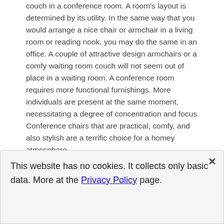couch in a conference room. A room's layout is determined by its utility. In the same way that you would arrange a nice chair or armchair in a living room or reading nook, you may do the same in an office. A couple of attractive design armchairs or a comfy waiting room couch will not seem out of place in a waiting room. A conference room requires more functional furnishings. More individuals are present at the same moment, necessitating a degree of concentration and focus. Conference chairs that are practical, comfy, and also stylish are a terrific choice for a homey atmosphere.
Choose your colors consciously
This website has no cookies. It collects only basic data. More at the Privacy Policy page.